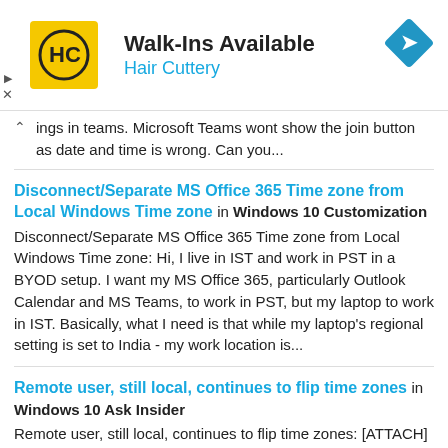[Figure (infographic): Advertisement banner for Hair Cuttery: yellow square logo with HC initials, title 'Walk-Ins Available', subtitle 'Hair Cuttery', blue diamond direction arrow icon on right, small play and close controls on left]
ings in teams. Microsoft Teams wont show the join button as date and time is wrong. Can you...
Disconnect/Separate MS Office 365 Time zone from Local Windows Time zone in Windows 10 Customization
Disconnect/Separate MS Office 365 Time zone from Local Windows Time zone: Hi, I live in IST and work in PST in a BYOD setup. I want my MS Office 365, particularly Outlook Calendar and MS Teams, to work in PST, but my laptop to work in IST. Basically, what I need is that while my laptop's regional setting is set to India - my work location is...
Remote user, still local, continues to flip time zones in Windows 10 Ask Insider
Remote user, still local, continues to flip time zones: [ATTACH] We have a remote user that is flipping time zones from CST to EST. She manually changed time zone back to CST numerous times but the issue persists. Finally, today I was able to be remotely connected while it happened and captured the flip from a ping - t...